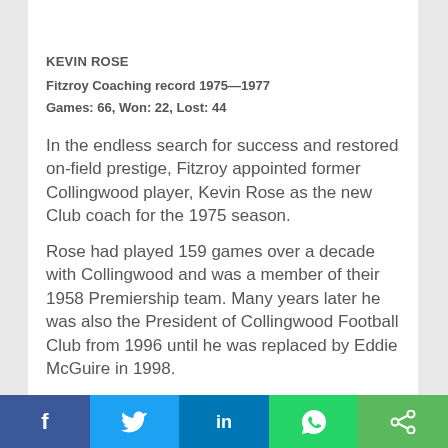KEVIN ROSE
Fitzroy Coaching record 1975—1977
Games: 66, Won: 22, Lost: 44
In the endless search for success and restored on-field prestige, Fitzroy appointed former Collingwood player, Kevin Rose as the new Club coach for the 1975 season.
Rose had played 159 games over a decade with Collingwood and was a member of their 1958 Premiership team. Many years later he was also the President of Collingwood Football Club from 1996 until he was replaced by Eddie McGuire in 1998.
f  [twitter]  in  [whatsapp]  [share]